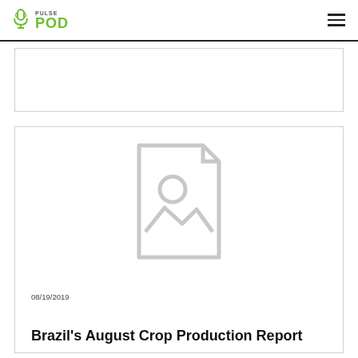PULSE POD
[Figure (other): Empty gray bordered card at top]
[Figure (illustration): Placeholder image icon — document/photo placeholder with circle and mountain line inside a rounded rectangle outline]
08/19/2019
Brazil’s August Crop Production Report